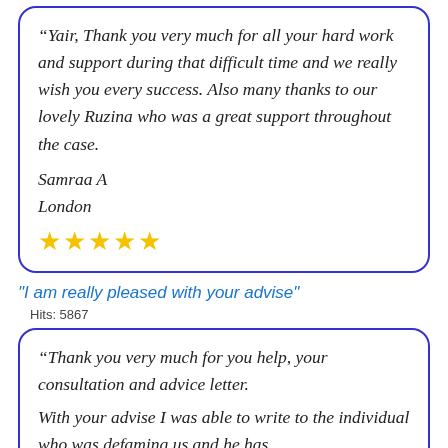“Yair, Thank you very much for all your hard work and support during that difficult time and we really wish you every success. Also many thanks to our lovely Ruzina who was a great support throughout the case. Samraa A London ★★★★★
"I am really pleased with your advise"
Hits: 5867
“Thank you very much for you help, your consultation and advice letter. With your advise I was able to write to the individual who was defaming us and he has